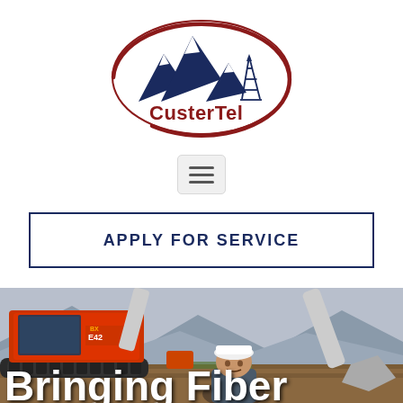[Figure (logo): CusterTel company logo: red oval outline with dark blue mountain silhouettes and oil derrick tower, text 'CusterTel' in dark red/maroon below the mountains]
[Figure (other): Hamburger menu icon button — three horizontal dark lines on a light gray rounded rectangle background]
APPLY FOR SERVICE
[Figure (photo): Construction site photo: Bobcat E42 mini excavator on the left, a worker in white hard hat crouching in the foreground, another excavator arm on the right, arid mountains and sky in background. Text overlay at bottom reads 'Bringing Fiber']